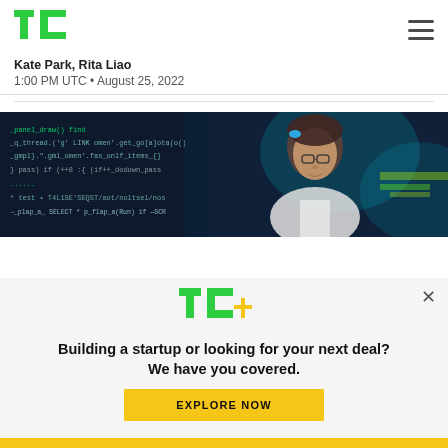TechCrunch logo and navigation
Kate Park, Rita Liao
1:00 PM UTC • August 25, 2022
[Figure (photo): A woman with glasses and blue hair accessories standing in front of a screen showing code, in a tech/lab environment]
[Figure (infographic): TC+ subscription modal overlay with logo, headline 'Building a startup or looking for your next deal? We have you covered.' and 'EXPLORE NOW' button]